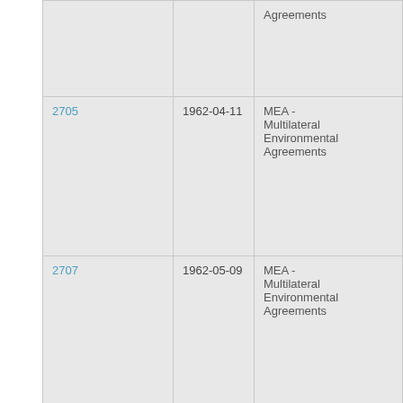| (col1) | (id) | (date) | (category) |
| --- | --- | --- | --- |
|  |  |  | Agreements |
|  | 2705 | 1962-04-11 | MEA - Multilateral Environmental Agreements |
|  | 2707 | 1962-05-09 | MEA - Multilateral Environmental Agreements |
|  | 2721 | 1963-05-21 | MEA - Multilateral Environmental Agreements |